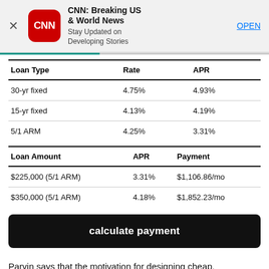[Figure (screenshot): CNN app advertisement banner with CNN logo, title 'CNN: Breaking US & World News', subtitle 'Stay Updated on Developing Stories', and OPEN button]
| Loan Type | Rate | APR |
| --- | --- | --- |
| 30-yr fixed | 4.75% | 4.93% |
| 15-yr fixed | 4.13% | 4.19% |
| 5/1 ARM | 4.25% | 3.31% |
| Loan Amount | APR | Payment |
| --- | --- | --- |
| $225,000 (5/1 ARM) | 3.31% | $1,106.86/mo |
| $350,000 (5/1 ARM) | 4.18% | $1,852.23/mo |
calculate payment
Parvin says that the motivation for designing cheap,